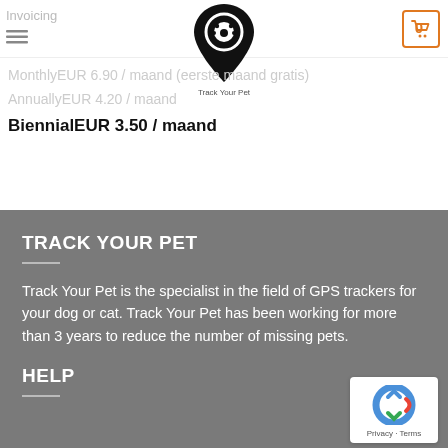Invoicing
MonthlyEUR 6.90 / maand (eerste maand gratis)
AnnuallyEUR 4.20 / maand
BiennialEUR 3.50 / maand
TRACK YOUR PET
Track Your Pet is the specialist in the field of GPS trackers for your dog or cat. Track Your Pet has been working for more than 3 years to reduce the number of missing pets.
HELP